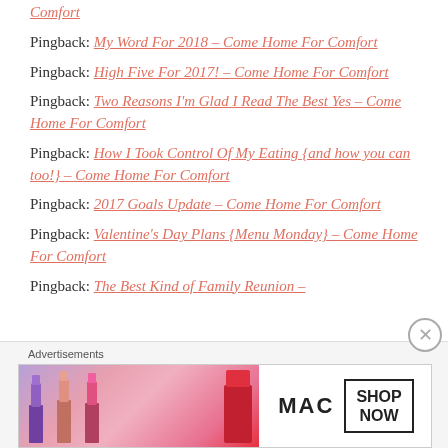Pingback: Comfort (link)
Pingback: My Word For 2018 – Come Home For Comfort
Pingback: High Five For 2017! – Come Home For Comfort
Pingback: Two Reasons I'm Glad I Read The Best Yes – Come Home For Comfort
Pingback: How I Took Control Of My Eating {and how you can too!} – Come Home For Comfort
Pingback: 2017 Goals Update – Come Home For Comfort
Pingback: Valentine's Day Plans {Menu Monday} – Come Home For Comfort
Pingback: The Best Kind of Family Reunion – Come Home For Comfort
[Figure (advertisement): MAC Cosmetics advertisement banner showing lipsticks and SHOP NOW button]